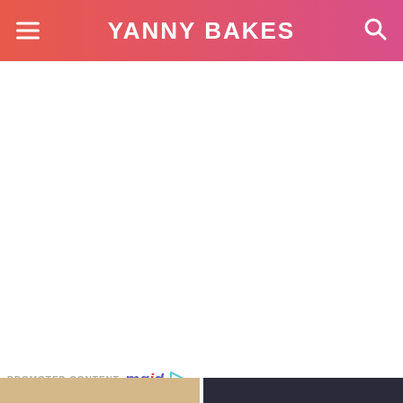YANNY BAKES
[Figure (screenshot): White blank content area below the header, representing an empty or loading page section]
[Figure (screenshot): Gray horizontal progress/scrubber bar with an X close button on the right]
PROMOTED CONTENT mgid
[Figure (photo): Two thumbnail images at bottom: left shows food/baked goods in yellow tones, right shows a dark scene with a person]